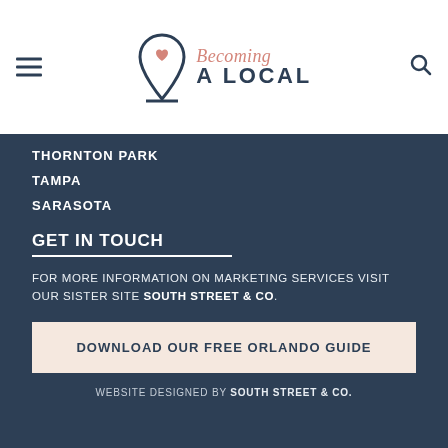Becoming A Local — logo and navigation header
THORNTON PARK
TAMPA
SARASOTA
GET IN TOUCH
FOR MORE INFORMATION ON MARKETING SERVICES VISIT OUR SISTER SITE SOUTH STREET & CO.
DOWNLOAD OUR FREE ORLANDO GUIDE
WEBSITE DESIGNED BY SOUTH STREET & CO.